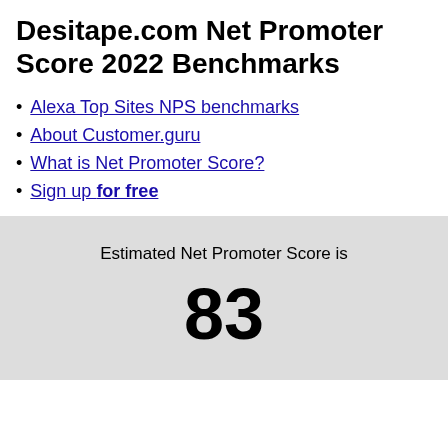Desitape.com Net Promoter Score 2022 Benchmarks
Alexa Top Sites NPS benchmarks
About Customer.guru
What is Net Promoter Score?
Sign up for free
Estimated Net Promoter Score is
83